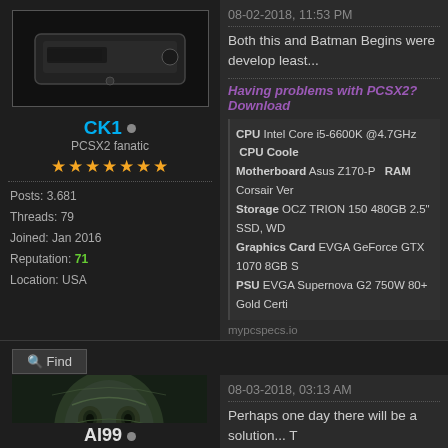[Figure (photo): User avatar for CK1 - small dark electronic device (PS2 console or similar)]
CK1 • (online indicator)
PCSX2 fanatic
★★★★★★★
Posts: 3.681
Threads: 79
Joined: Jan 2016
Reputation: 71
Location: USA
08-02-2018, 11:53 PM
Both this and Batman Begins were develop least...
Having problems with PCSX2? Download
CPU Intel Core i5-6600K @4.7GHz  CPU Coole
Motherboard Asus Z170-P  RAM Corsair Ver
Storage OCZ TRION 150 480GB 2.5" SSD, WD
Graphics Card EVGA GeForce GTX 1070 8GB S
PSU EVGA Supernova G2 750W 80+ Gold Certi
mypcspecs.io
Find
08-03-2018, 03:13 AM
[Figure (photo): User avatar for AI99 - Predator alien creature artwork]
AI99 • (online indicator)
Perhaps one day there will be a solution... T